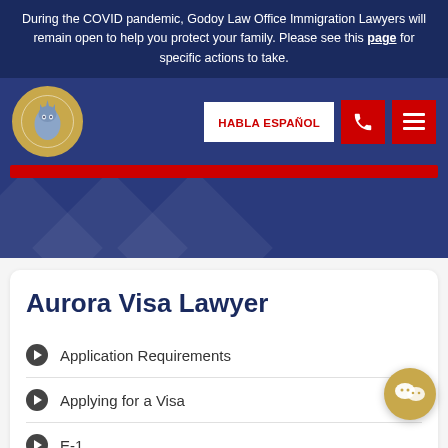During the COVID pandemic, Godoy Law Office Immigration Lawyers will remain open to help you protect your family. Please see this page for specific actions to take.
[Figure (screenshot): Navigation bar with Godoy Law Office logo (Statue of Liberty in gold circle), HABLA ESPAÑOL button in red text on white, phone icon button in red, hamburger menu icon button in red]
[Figure (illustration): Dark navy blue hero banner with diagonal diamond geometric shapes]
Aurora Visa Lawyer
Application Requirements
Applying for a Visa
E-1